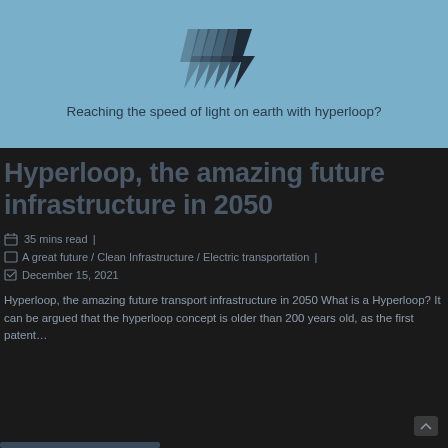[Figure (logo): Stylized lightning bolt or arrow logo with multiple overlapping shapes in dark gray/charcoal]
Reaching the speed of light on earth with hyperloop?
Hyperloop, the amazing future infrastructure in 2050
35 mins read |
A great future / Clean Infrastructure / Electric transportation |
December 15, 2021
Hyperloop, the amazing future transport infrastructure in 2050 What is a Hyperloop? It can be argued that the hyperloop concept is older than 200 years old, as the first patent…